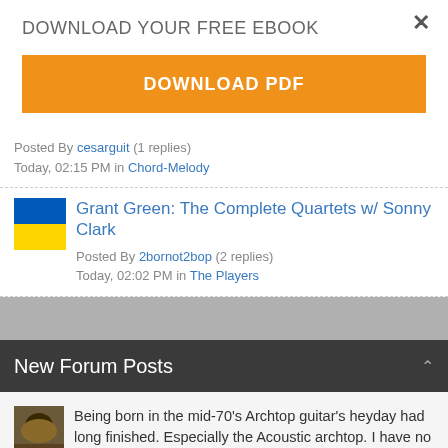×
DOWNLOAD YOUR FREE EBOOK
DOWNLOAD PDF
Posted By cesarguit (1 replies) Today, 02:15 PM in Chord-Melody
Grant Green: The Complete Quartets w/ Sonny Clark
Posted By 2bornot2bop (2 replies) Today, 02:02 PM in The Players
New Forum Posts
Being born in the mid-70's Archtop guitar's heyday had long finished. Especially the Acoustic archtop. I have no Nostalgia for archtops of a particular make or model. I have no desire to collect...
How quickly prices have gone up... oh my...
Today, 09:50 PM